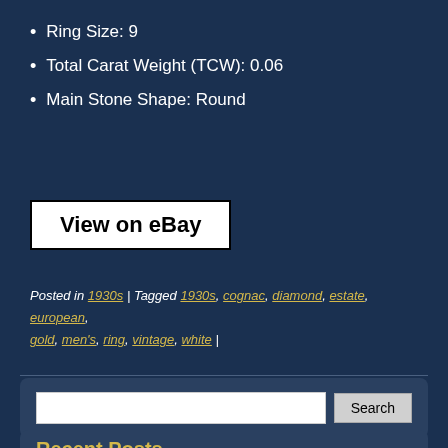Ring Size: 9
Total Carat Weight (TCW): 0.06
Main Stone Shape: Round
[Figure (other): View on eBay button - white rectangle with black border and black bold text]
Posted in 1930s | Tagged 1930s, cognac, diamond, estate, european, gold, men's, ring, vintage, white |
[Figure (other): Search box with text input field and Search button]
Recent Posts